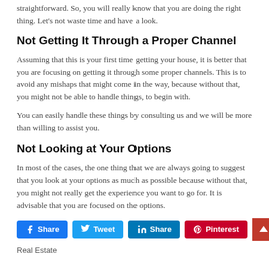straightforward. So, you will really know that you are doing the right thing. Let's not waste time and have a look.
Not Getting It Through a Proper Channel
Assuming that this is your first time getting your house, it is better that you are focusing on getting it through some proper channels. This is to avoid any mishaps that might come in the way, because without that, you might not be able to handle things, to begin with.
You can easily handle these things by consulting us and we will be more than willing to assist you.
Not Looking at Your Options
In most of the cases, the one thing that we are always going to suggest that you look at your options as much as possible because without that, you might not really get the experience you want to go for. It is advisable that you are focused on the options.
[Figure (infographic): Social sharing buttons: Facebook Share, Tweet, LinkedIn Share, Pinterest]
Real Estate